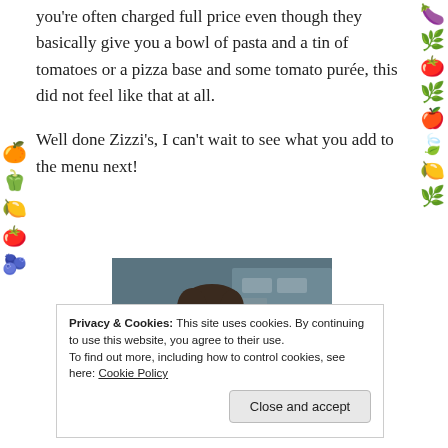you're often charged full price even though they basically give you a bowl of pasta and a tin of tomatoes or a pizza base and some tomato purée, this did not feel like that at all.
Well done Zizzi's, I can't wait to see what you add to the menu next!
[Figure (photo): Photo of a smiling man with dark hair in a restaurant setting]
Privacy & Cookies: This site uses cookies. By continuing to use this website, you agree to their use. To find out more, including how to control cookies, see here: Cookie Policy